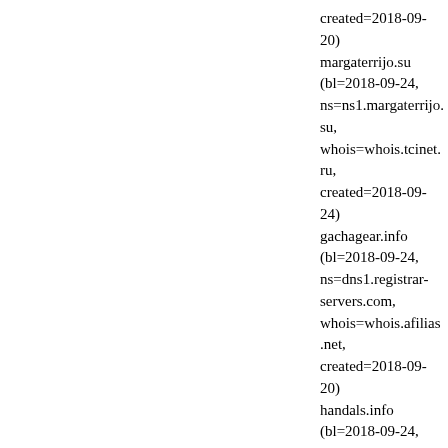created=2018-09-20) margaterrijo.su (bl=2018-09-24, ns=ns1.margaterrijo.su, whois=whois.tcinet.ru, created=2018-09-24) gachagear.info (bl=2018-09-24, ns=dns1.registrar-servers.com, whois=whois.afilias.net, created=2018-09-20) handals.info (bl=2018-09-24, ns=ns1.hosting.reg.ru, whois=whois.afilias.net, created=2018-09-17) orisunenergy.info (bl=2018-09-, ns=dns1.registrar-servers.com, whois=whois.afilias.net, created=2018-09-20) idfeed.online (bl=2018-09-24, n, ns=semi11.hostingpangeran.com, whois=whois.centralnic.com, created=2018-09-21) missymarybelle.com (bl=2018-09-24, rogue-ns=ns1.missymarybelle.com, whois=whois.verisign-grs.com, created=2018-09-23) ketoultradiet923.us (bl=2018-09, rogue-